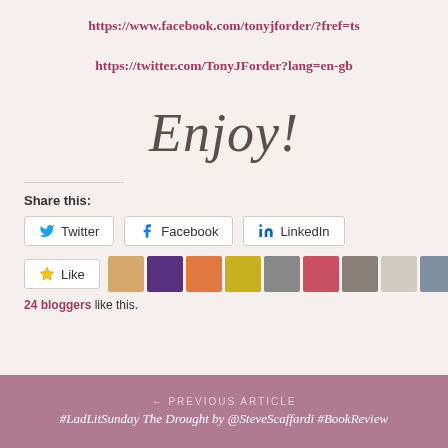https://www.facebook.com/tonyjforder/?fref=ts
https://twitter.com/TonyJForder?lang=en-gb
Enjoy!
Share this:
Twitter  Facebook  LinkedIn
Like  24 bloggers like this.
← PREVIOUS ARTICLE
#LadLitSunday The Drought by @SteveScaffardi #BookReview